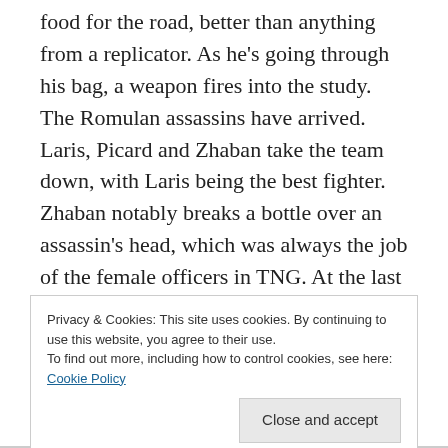food for the road, better than anything from a replicator. As he's going through his bag, a weapon fires into the study. The Romulan assassins have arrived. Laris, Picard and Zhaban take the team down, with Laris being the best fighter. Zhaban notably breaks a bottle over an assassin's head, which was always the job of the female officers in TNG. At the last second, Agnes steps into the room to shoot a stray assassin who takes them by surprise.

Where did she suddenly come from? Last we saw her, she was in the room with the Sh...
Privacy & Cookies: This site uses cookies. By continuing to use this website, you agree to their use.
To find out more, including how to control cookies, see here: Cookie Policy
Close and accept